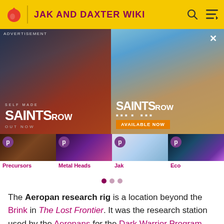JAK AND DAXTER WIKI
[Figure (photo): Saints Row video game advertisement banner showing two Saints Row promotional images side by side with 'SELF MADE SAINTS ROW OUT NOW' on the left and 'SAINTS ROW AVAILABLE NOW' on the right. An X close button is visible top right. 'ADVERTISEMENT' label top left.]
[Figure (infographic): Four category tiles showing Precursors, Metal Heads, Jak, and Eco with thumbnail images and purple P icons]
The Aeropan research rig is a location beyond the Brink in The Lost Frontier. It was the research station used by the Aeropans for the Dark Warrior Program long ago. However, it was eventually abandoned for unknown reasons, but still remained heavily protected. Whereas